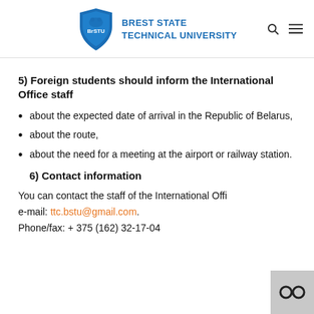BREST STATE TECHNICAL UNIVERSITY
5) Foreign students should inform the International Office staff
about the expected date of arrival in the Republic of Belarus,
about the route,
about the need for a meeting at the airport or railway station.
6) Contact information
You can contact the staff of the International Office by e-mail: ttc.bstu@gmail.com. Phone/fax: + 375 (162) 32-17-04